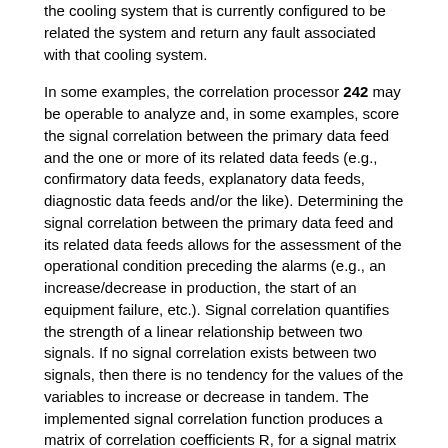the cooling system that is currently configured to be related the system and return any fault associated with that cooling system.
In some examples, the correlation processor 242 may be operable to analyze and, in some examples, score the signal correlation between the primary data feed and the one or more of its related data feeds (e.g., confirmatory data feeds, explanatory data feeds, diagnostic data feeds and/or the like). Determining the signal correlation between the primary data feed and its related data feeds allows for the assessment of the operational condition preceding the alarms (e.g., an increase/decrease in production, the start of an equipment failure, etc.). Signal correlation quantifies the strength of a linear relationship between two signals. If no signal correlation exists between two signals, then there is no tendency for the values of the variables to increase or decrease in tandem. The implemented signal correlation function produces a matrix of correlation coefficients R, for a signal matrix (where each column represents a separate signal). The correlation coefficients may range from −1 to 1, in some example embodiments. In other examples, correlation